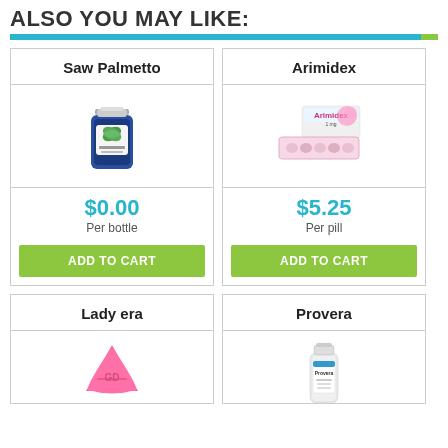ALSO YOU MAY LIKE:
[Figure (other): Blue and green horizontal decorative bar]
Saw Palmetto
[Figure (photo): Blue bottle of Saw Palmetto supplement]
$0.00
Per bottle
ADD TO CART
Arimidex
[Figure (photo): Arimidex 1mg pill blister packs and box]
$5.25
Per pill
ADD TO CART
Lady era
[Figure (photo): Pink triangular Lady era pill]
Provera
[Figure (photo): White bottle of Provera medication]